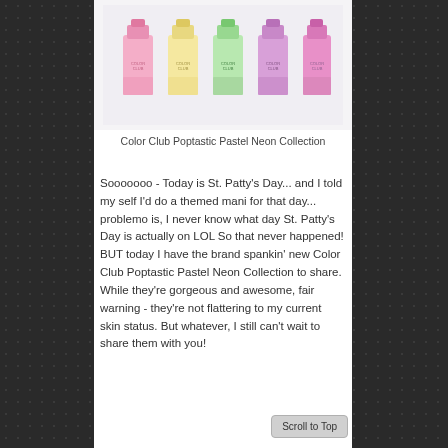[Figure (photo): Five bottles of Color Club nail polish in pastel neon shades (pink, yellow, green, and purple) arranged in a row against a light background.]
Color Club Poptastic Pastel Neon Collection
Sooooooo - Today is St. Patty's Day... and I told my self I'd do a themed mani for that day... problemo is, I never know what day St. Patty's Day is actually on LOL So that never happened! BUT today I have the brand spankin' new Color Club Poptastic Pastel Neon Collection to share. While they're gorgeous and awesome, fair warning - they're not flattering to my current skin status. But whatever, I still can't wait to share them with you!